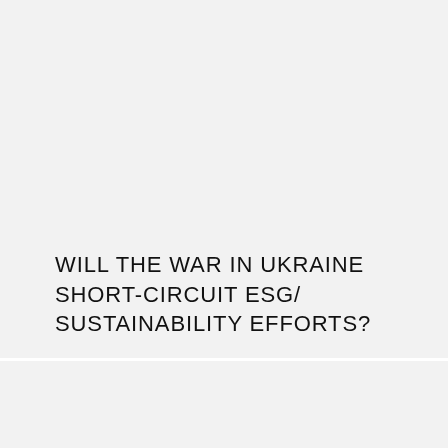WILL THE WAR IN UKRAINE SHORT-CIRCUIT ESG/ SUSTAINABILITY EFFORTS?